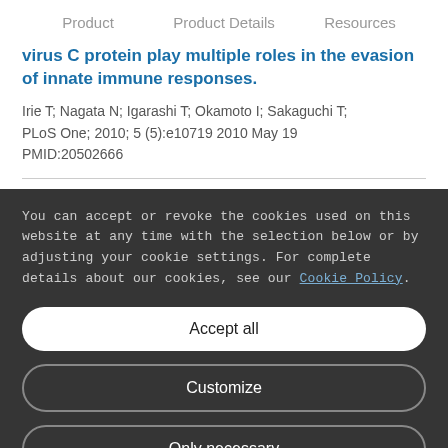Product   Product Details   Resources
virus C protein play multiple roles in the evasion of innate immune responses.
Irie T; Nagata N; Igarashi T; Okamoto I; Sakaguchi T;
PLoS One; 2010; 5 (5):e10719 2010 May 19
PMID:20502666
You can accept or revoke the cookies used on this website at any time with the selection below or by adjusting your cookie settings. For complete details about our cookies, see our Cookie Policy.
Accept all
Customize
Only necessary